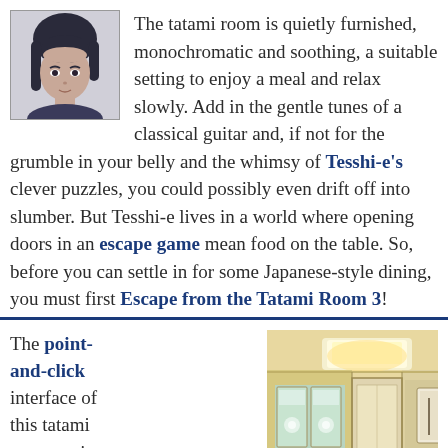[Figure (illustration): Grayscale portrait illustration of a woman with dark hair, looking slightly upward]
The tatami room is quietly furnished, monochromatic and soothing, a suitable setting to enjoy a meal and relax slowly. Add in the gentle tunes of a classical guitar and, if not for the grumble in your belly and the whimsy of Tesshi-e's clever puzzles, you could possibly even drift off into slumber. But Tesshi-e lives in a world where opening doors in an escape game mean food on the table. So, before you can settle in for some Japanese-style dining, you must first Escape from the Tatami Room 3!
The point-and-click interface of this tatami room, as in the first and second
[Figure (screenshot): Screenshot of a Japanese tatami room interior from an escape game, showing a ceiling light, sliding paper doors, windows with floral patterns, and a hallway with a framed scroll.]